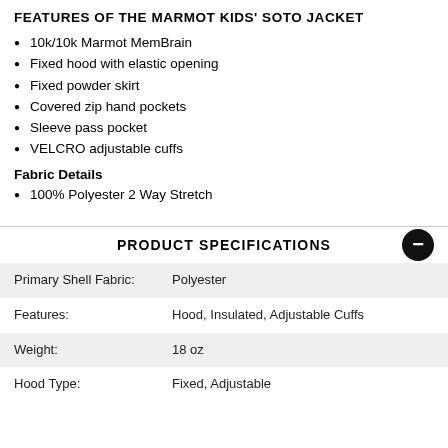FEATURES OF THE MARMOT KIDS' SOTO JACKET
10k/10k Marmot MemBrain
Fixed hood with elastic opening
Fixed powder skirt
Covered zip hand pockets
Sleeve pass pocket
VELCRO adjustable cuffs
Fabric Details
100% Polyester 2 Way Stretch
PRODUCT SPECIFICATIONS
| Property | Value |
| --- | --- |
| Primary Shell Fabric: | Polyester |
| Features: | Hood, Insulated, Adjustable Cuffs |
| Weight: | 18 oz |
| Hood Type: | Fixed, Adjustable |